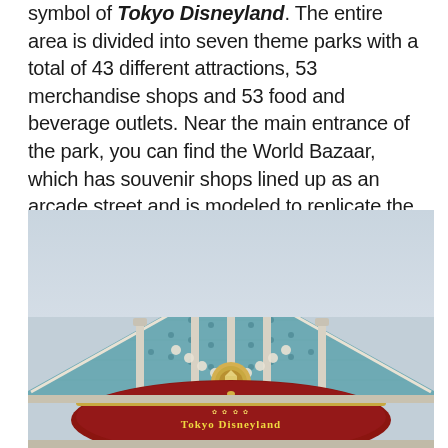symbol of Tokyo Disneyland. The entire area is divided into seven theme parks with a total of 43 different attractions, 53 merchandise shops and 53 food and beverage outlets. Near the main entrance of the park, you can find the World Bazaar, which has souvenir shops lined up as an arcade street and is modeled to replicate the atmosphere of the early 20th century in the United States.
[Figure (photo): Exterior facade of a Tokyo Disneyland building entrance showing a Victorian-style peaked roof with teal/slate blue tiles, white decorative trim, spires, balustrade railing, and the Tokyo Disneyland sign in red and gold at the bottom]